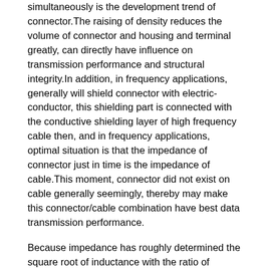simultaneously is the development trend of connector.The raising of density reduces the volume of connector and housing and terminal greatly, can directly have influence on transmission performance and structural integrity.In addition, in frequency applications, generally will shield connector with electric-conductor, this shielding part is connected with the conductive shielding layer of high frequency cable then, and in frequency applications, optimal situation is that the impedance of connector just in time is the impedance of cable.This moment, connector did not exist on cable generally seemingly, thereby may make this connector/cable combination have best data transmission performance.
Because impedance has roughly determined the square root of inductance with the ratio of electric capacity, therefore along with the increase of density, because the distance between screen and the conductor reduces, the electric capacity of connector is increasing.This reduces the impedance of the connector of cable end.
In the high density occasion, high density makes size decreases, makes to be used for the regulating shielding factor of connector impedance and to be used to the